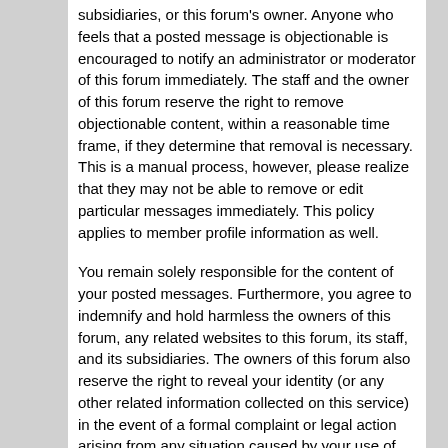subsidiaries, or this forum's owner. Anyone who feels that a posted message is objectionable is encouraged to notify an administrator or moderator of this forum immediately. The staff and the owner of this forum reserve the right to remove objectionable content, within a reasonable time frame, if they determine that removal is necessary. This is a manual process, however, please realize that they may not be able to remove or edit particular messages immediately. This policy applies to member profile information as well.
You remain solely responsible for the content of your posted messages. Furthermore, you agree to indemnify and hold harmless the owners of this forum, any related websites to this forum, its staff, and its subsidiaries. The owners of this forum also reserve the right to reveal your identity (or any other related information collected on this service) in the event of a formal complaint or legal action arising from any situation caused by your use of this forum.
You have the ability, as you register, to choose your username. We advise that you keep the name appropriate. With this user account you are about to register, you agree to never give your password out to another person except an administrator, for your protection and for validity reasons. You also agree to NEVER use another person's account for any reason.  We also HIGHLY recommend you use a complex and unique password for your account, to prevent account theft.
After you register and login to this forum, you will be able to fill out a detailed profile. It is your responsibility to present clean and